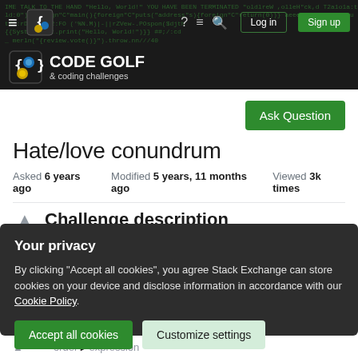Code Golf & coding challenges — navigation header with Log in and Sign up buttons
[Figure (screenshot): Code Golf Stack Exchange site header with dark background, green code text, logo, and navigation bar with hamburger menu, logo icon, question mark, speech bubble, search, Log in, Sign up buttons]
Hate/love conundrum
Asked 6 years ago   Modified 5 years, 11 months ago   Viewed 3k times
Challenge description
Your privacy
By clicking "Accept all cookies", you agree Stack Exchange can store cookies on your device and disclose information in accordance with our Cookie Policy.
Accept all cookies
Customize settings